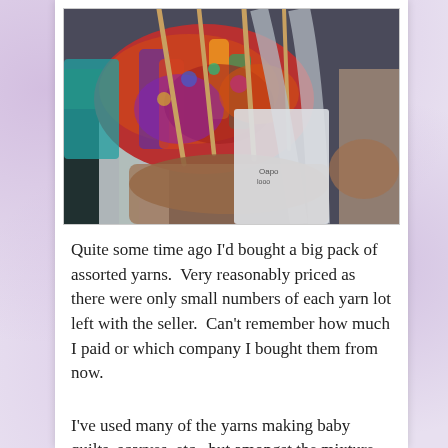[Figure (photo): A photograph of multiple skeins of colorful assorted yarns in a bag/basket with wooden knitting needles sticking up, surrounded by other bags and items.]
Quite some time ago I'd bought a big pack of assorted yarns.  Very reasonably priced as there were only small numbers of each yarn lot left with the seller.  Can't remember how much I paid or which company I bought them from now.
I've used many of the yarns making baby quilts, scarves, etc., but amongst the mixture were